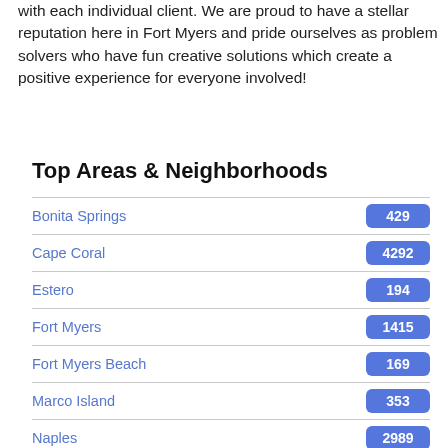with each individual client. We are proud to have a stellar reputation here in Fort Myers and pride ourselves as problem solvers who have fun creative solutions which create a positive experience for everyone involved!
Top Areas & Neighborhoods
Bonita Springs  429
Cape Coral  4292
Estero  194
Fort Myers  1415
Fort Myers Beach  169
Marco Island  353
Naples  2989
Port Charlotte  629